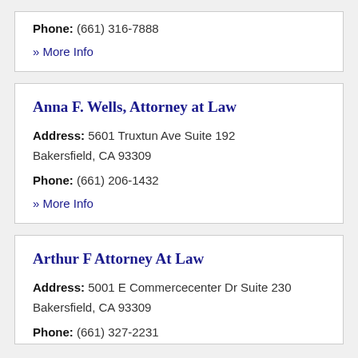Phone: (661) 316-7888
» More Info
Anna F. Wells, Attorney at Law
Address: 5601 Truxtun Ave Suite 192
Bakersfield, CA 93309
Phone: (661) 206-1432
» More Info
Arthur F Attorney At Law
Address: 5001 E Commercecenter Dr Suite 230
Bakersfield, CA 93309
Phone: (661) 327-2231